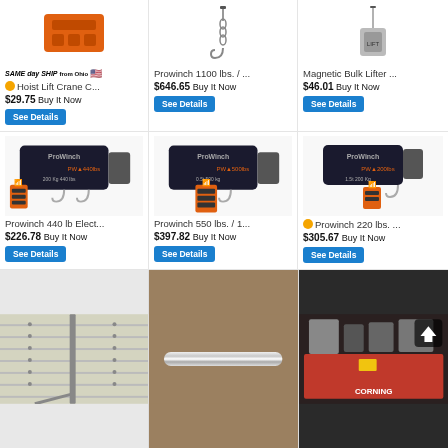[Figure (screenshot): eBay product listing grid showing 6 products with images, titles, prices, and See Details buttons, plus 3 partial product images at bottom]
SAME day SHIP from Ohio — Hoist Lift Crane C... $29.75 Buy It Now
Prowinch 1100 lbs. / ... $646.65 Buy It Now
Magnetic Bulk Lifter ... $46.01 Buy It Now
Prowinch 440 lb Elect... $226.78 Buy It Now
Prowinch 550 lbs. / 1... $397.82 Buy It Now
Prowinch 220 lbs. ... $305.67 Buy It Now